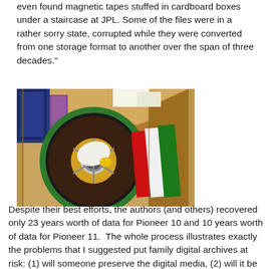even found magnetic tapes stuffed in cardboard boxes under a staircase at JPL. Some of the files were in a rather sorry state, corrupted while they were converted from one storage format to another over the span of three decades."
[Figure (photo): A reel-to-reel magnetic tape in a green plastic housing, sitting in a cardboard box, with striped red, white and green cloth visible beside it.]
Despite their best efforts, the authors (and others) recovered only 23 years worth of data for Pioneer 10 and 10 years worth of data for Pioneer 11.  The whole process illustrates exactly the problems that I suggested put family digital archives at risk: (1) will someone preserve the digital media, (2) will it be possible to extract the bits from the media, and (3) will they...